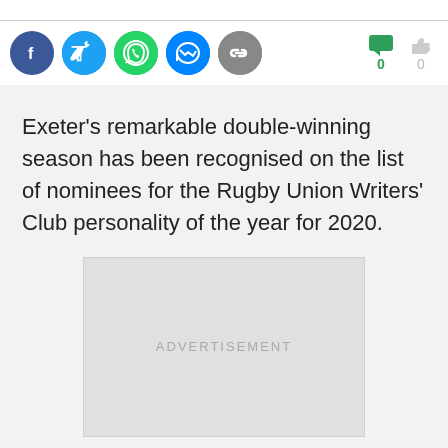[Figure (other): Social sharing icons row: Facebook, Twitter, WhatsApp, Messenger, Link/Copy. Plus comment count (0, green) and like count (0, gray) on the right.]
Exeter's remarkable double-winning season has been recognised on the list of nominees for the Rugby Union Writers' Club personality of the year for 2020.
[Figure (other): Advertisement placeholder box with text ADVERTISEMENT]